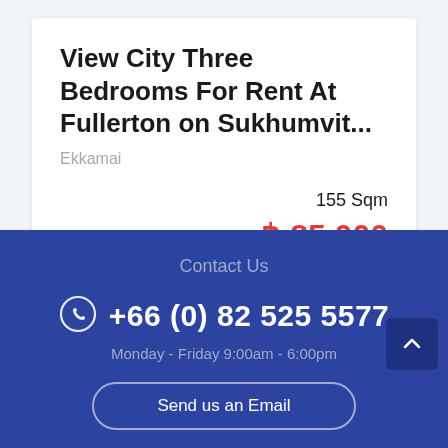View City Three Bedrooms For Rent At Fullerton on Sukhumvit...
Ekkamai
3 bed/3 bath
155 Sqm
฿ 85,000
Contact Us
+66 (0) 82 525 5577
Monday - Friday 9:00am - 6:00pm
Send us an Email